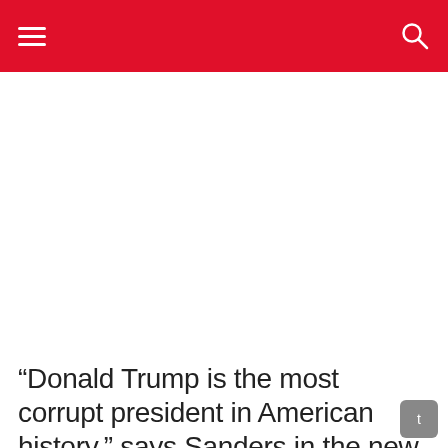[Figure (other): Advertisement / blank area below header navigation]
“Donald Trump is the most corrupt president in American history,” says Sanders in the new 30-second place before he focuses more on eradicating corruption in America.